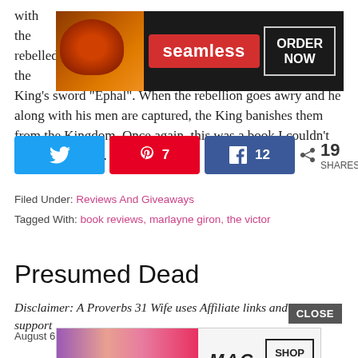with the… as rebelled… in the King's sword “Ephal”. When the rebellion goes awry and he along with his men are captured, the King banishes them from the Kingdom. Once again, this was a book I couldn’t hardly put down. Even […]
[Figure (other): Seamless food delivery advertisement banner with pizza image, 'seamless' branding in red, and 'ORDER NOW' button]
[Figure (infographic): Social share bar with Twitter button, Pinterest button showing 7, Facebook button showing 12, and share count of 19 SHARES]
Filed Under: Reviews And Giveaways
Tagged With: book reviews, marlayne giron, the victor
Presumed Dead
Disclaimer: A Proverbs 31 Wife uses Affiliate links and ads to support
August 6,
[Figure (other): MAC cosmetics advertisement with lipsticks and SHOP NOW button]
[Figure (other): CLOSE button overlay]